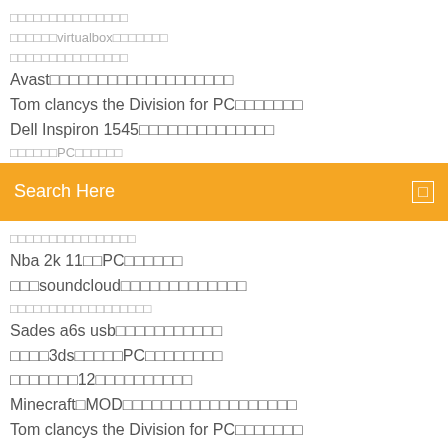□□□□□□□□□□□□□□□
□□□□□□virtualbox□□□□□□□
□□□□□□□□□□□□□□□
Avast□□□□□□□□□□□□□□□□□□□
Tom clancys the Division for PC□□□□□□□
Dell Inspiron 1545□□□□□□□□□□□□□□
□□□□□□PC□□□□□□
Search Here
□□□□□□□□□□□□□□□□
Nba 2k 11□□PC□□□□□□
□□□soundcloud□□□□□□□□□□□□□
□□□□□□□□□□□□□□□□□□
Sades a6s usb□□□□□□□□□□□
□□□□3ds□□□□□PC□□□□□□□□
□□□□□□□12□□□□□□□□□□
Minecraft□MOD□□□□□□□□□□□□□□□□□□
Tom clancys the Division for PC□□□□□□□
Imm 5256 pdf□□□□□□□□